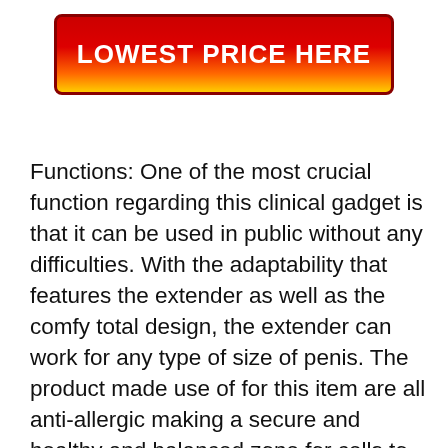[Figure (other): Red to orange/yellow gradient button with bold white text reading LOWEST PRICE HERE]
Functions: One of the most crucial function regarding this clinical gadget is that it can be used in public without any difficulties. With the adaptability that features the extender as well as the comfy total design, the extender can work for any type of size of penis. The product made use of for this item are all anti-allergic making a secure and healthy and balanced zone for cells to grow in. The makes together with making sure that the tool supplies ensured results have likewise seen to it that the total process of penis enlargement with this extender goes